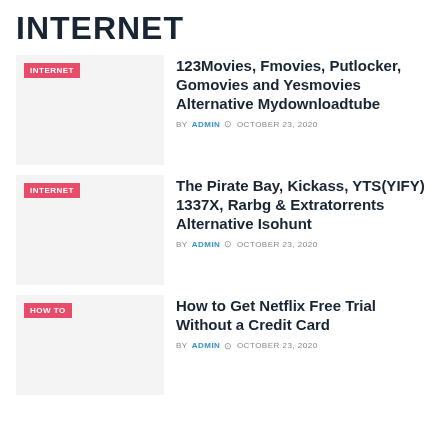INTERNET
[Figure (other): Thumbnail image placeholder with INTERNET tag badge]
123Movies, Fmovies, Putlocker, Gomovies and Yesmovies Alternative Mydownloadtube
BY ADMIN  OCTOBER 23, 2020
[Figure (other): Thumbnail image placeholder with INTERNET tag badge]
The Pirate Bay, Kickass, YTS(YIFY) 1337X, Rarbg & Extratorrents Alternative Isohunt
BY ADMIN  OCTOBER 23, 2020
[Figure (other): Thumbnail image placeholder with HOW TO tag badge]
How to Get Netflix Free Trial Without a Credit Card
BY ADMIN  OCTOBER 23, 2020